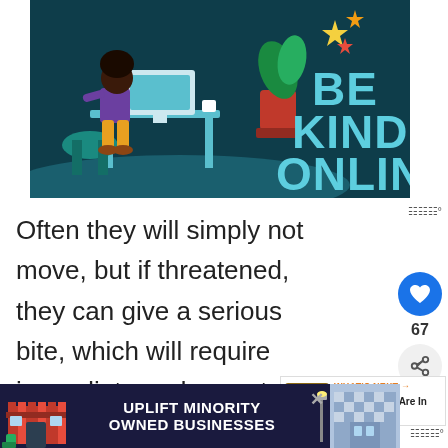[Figure (illustration): Infographic showing a woman working at a desk with a laptop, a plant with colorful leaves, against a dark teal background. Bold light-blue text reads 'BE KIND ONLINE'.]
Often they will simply not move, but if threatened, they can give a serious bite, which will require immediate and urgent medical attention.
[Figure (infographic): Advertisement banner: 'UPLIFT MINORITY OWNED BUSINESSES' on a dark navy background with a storefront illustration on the left and a building image on the right.]